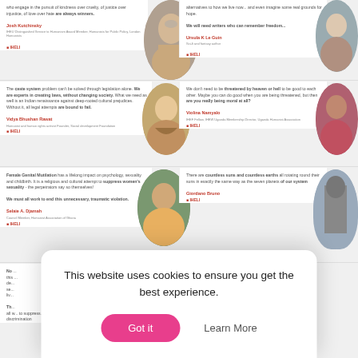who engage in the pursuit of kindness over cruelty, of justice over injustice, of love over hate are always winners.
Josh Kutchinsky
[Figure (photo): Portrait photo of an older man with white beard]
alternatives to how we live now... and even imagine some real grounds for hope. We will need writers who can remember freedom...
Ursula K Le Guin
[Figure (photo): Portrait photo of an older woman]
The caste system problem can't be solved through legislation alone. We are experts in creating laws, without changing society. What we need as well is an Indian renaissance against deep-rooted cultural prejudices. Without it, all legal attempts are bound to fail.
Vidya Bhushan Rawat
[Figure (photo): Portrait photo of a smiling Indian man]
We don't need to be threatened by heaven or hell to be good to each other. Maybe you can do good when you are being threatened, but then are you really being moral at all?
Violina Namyalo
[Figure (photo): Portrait photo of an African woman with braided hair]
Female Genital Mutilation has a lifelong impact on psychology, sexuality and childbirth. It is a religious and cultural attempt to suppress women's sexuality - the perpetrators say so themselves! We must all work to end this unnecessary, traumatic violation.
Selaie A. Djamah
[Figure (photo): Portrait photo of a smiling young African woman]
There are countless suns and countless earths all rotating round their suns in exactly the same way as the seven planets of our system
Giordano Bruno
[Figure (photo): Statue photo - Giordano Bruno statue]
This website uses cookies to ensure you get the best experience.
Got it
Learn More